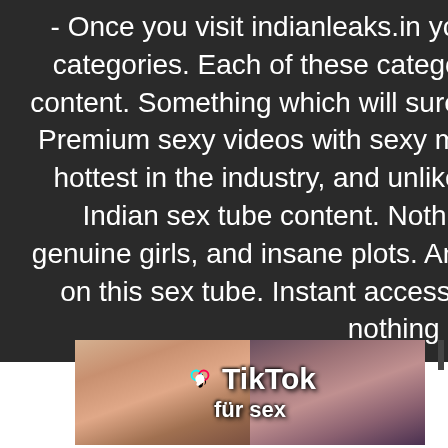- Once you visit indianleaks.in you will be dazzled by the share number of categories. Each of these categories is packed with top-rated Indian XXX content. Something which will surely keep you busy and hard for a long time! Premium sexy videos with sexy models - That's right, the page is one of the hottest in the industry, and unlike other pages similar to this, we offer real Indian sex tube content. Nothing but premium sex videos from India, genuine girls, and insane plots. Anything your mind desires can be streamed on this sex tube. Instant access to all videos - This porn tube consists of nothing but genuine India
[Figure (photo): Advertisement banner showing TikTok für sex promotional image with two female subjects]
[Figure (photo): Duplicate advertisement banner showing TikTok für sex promotional image with two female subjects]